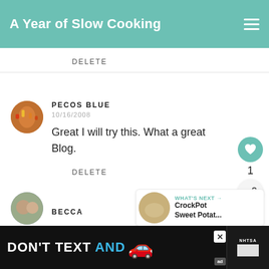A Year of Slow Cooking
DELETE
PECOS BLUE
10/16/2008

Great I will try this. What a great Blog.
DELETE
1
WHAT'S NEXT → CrockPot Sweet Potat...
BECCA